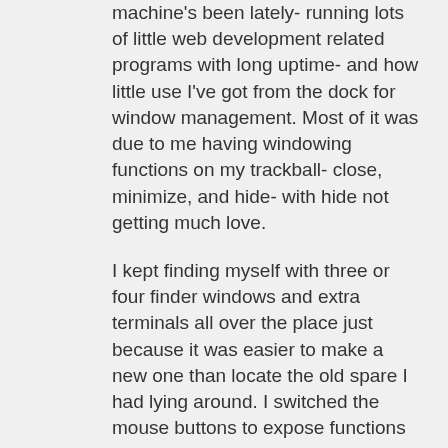machine's been lately- running lots of little web development related programs with long uptime- and how little use I've got from the dock for window management. Most of it was due to me having windowing functions on my trackball- close, minimize, and hide- with hide not getting much love.
I kept finding myself with three or four finder windows and extra terminals all over the place just because it was easier to make a new one than locate the old spare I had lying around. I switched the mouse buttons to expose functions and I've been pretty happy with it so far. I've found myself using the reveal desktop button indefinitely to unclutter the display when I leave my desk, and being more anal about leaving multiple spare windows open if I'm not using them (finder and terminal, mostly). So far, so good.